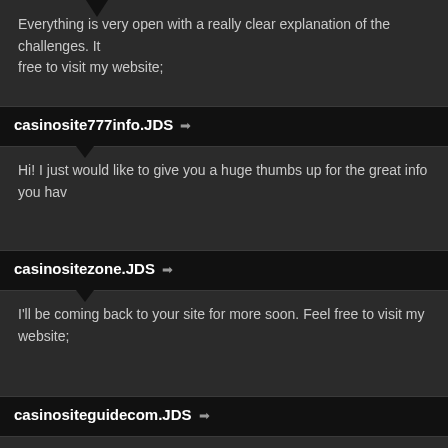[Figure (other): Speech bubble tail pointing upward at top of page, indicating continuation of a previous comment]
Everything is very open with a really clear explanation of the challenges. It free to visit my website;
casinosite777info.JDS →
Hi! I just would like to give you a huge thumbs up for the great info you hav
casinositezone.JDS →
I'll be coming back to your site for more soon. Feel free to visit my website;
casinositeguidecom.JDS →